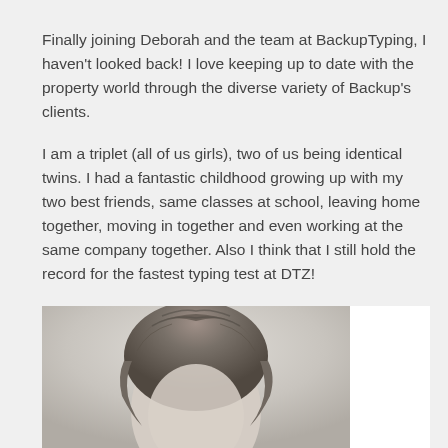Finally joining Deborah and the team at BackupTyping, I haven't looked back! I love keeping up to date with the property world through the diverse variety of Backup's clients.
I am a triplet (all of us girls), two of us being identical twins. I had a fantastic childhood growing up with my two best friends, same classes at school, leaving home together, moving in together and even working at the same company together. Also I think that I still hold the record for the fastest typing test at DTZ!
[Figure (photo): Black and white portrait photograph showing the top of a person's head with styled hair, cropped at the bottom of the page]